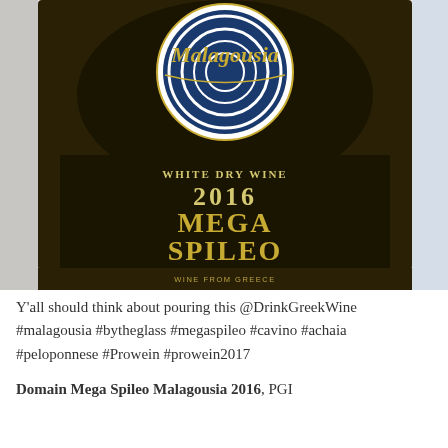[Figure (photo): Close-up photograph of a wine bottle label. The label is dark/black with gold text. It reads 'Malagousia' at the top in cursive script, then 'White Dry Wine', '2016', 'MEGA SPILEO', 'Protected Geographical Indication / Achaia', 'Wine From Greece'. There is a circular decorative label at the top with concentric ring patterns in blue and white.]
Y'all should think about pouring this @DrinkGreekWine #malagousia #bytheglass #megaspileo #cavino #achaia #peloponnese #Prowein #prowein2017
Domain Mega Spileo Malagousia 2016, PGI